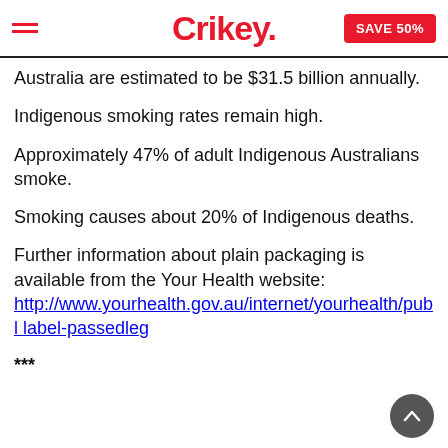Crikey. SAVE 50%
Australia are estimated to be $31.5 billion annually.
Indigenous smoking rates remain high.
Approximately 47% of adult Indigenous Australians smoke.
Smoking causes about 20% of Indigenous deaths.
Further information about plain packaging is available from the Your Health website: http://www.yourhealth.gov.au/internet/yourhealth/publ label-passedleg
***